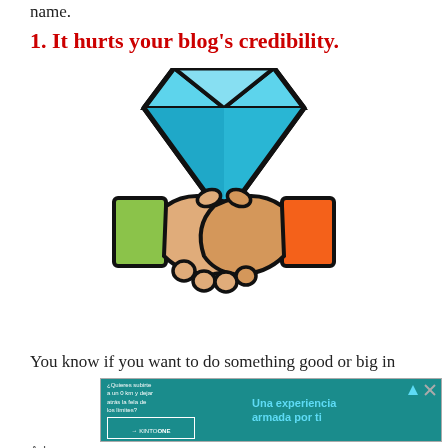name.
1. It hurts your blog's credibility.
[Figure (illustration): A diamond gemstone icon above two hands shaking (a handshake icon), representing credibility and deals. The diamond is blue/cyan with black outlines. The handshake shows one sleeve in green and one in orange/red.]
You know if you want to do something good or big in
[Figure (other): Toyota KINTO ONE advertisement banner with teal/cyan background. Left side shows text in Spanish: '¿Quieres subirte a un 0 km y dejar atrás la fela de los límites?' with car image. Right side shows 'Una experiencia armada por ti' in blue text. Toyota logo at bottom right.]